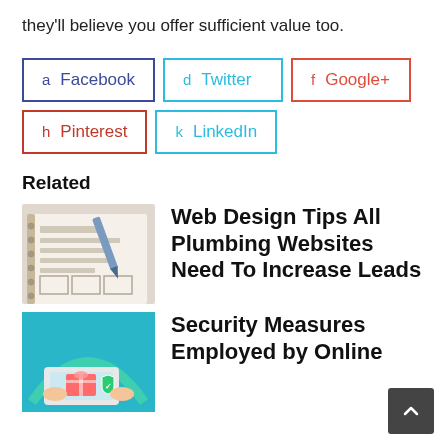they'll believe you offer sufficient value too.
[Figure (screenshot): Social media share buttons: Facebook (dark blue border), Twitter (cyan border), Google+ (red border), Pinterest (dark red border), LinkedIn (cyan border). Each has a letter key and platform name.]
Related
[Figure (photo): Wireframe/web design sketches on paper with a pen]
Web Design Tips All Plumbing Websites Need To Increase Leads
[Figure (illustration): Illustration of hands using a laptop/tablet with gift/security icons on a teal background]
Security Measures Employed by Online